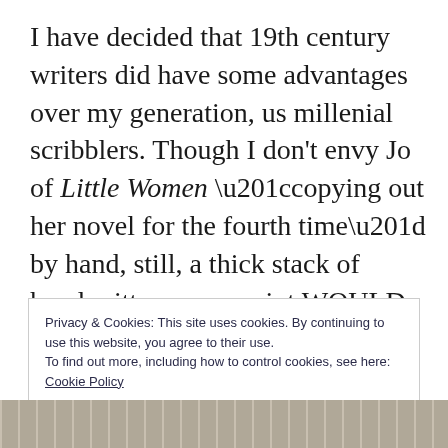I have decided that 19th century writers did have some advantages over my generation, us millenial scribblers. Though I don't envy Jo of Little Women “copying out her novel for the fourth time” by hand, still, a thick stack of handwritten manuscript WOULD make a nice picture to post on social media- more satisfying than a screenshot of a blinking text
Privacy & Cookies: This site uses cookies. By continuing to use this website, you agree to their use.
To find out more, including how to control cookies, see here: Cookie Policy
[Figure (photo): Partial photo strip at bottom of page showing what appears to be books or shelves]